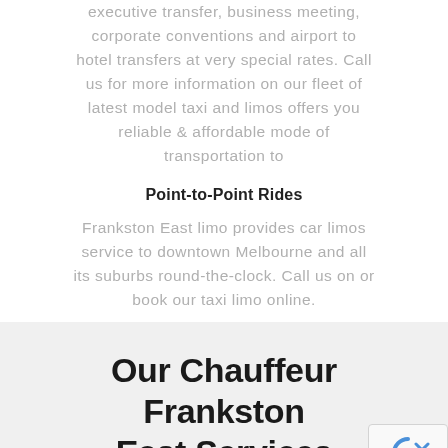executive transfer, business meeting, corporate conventions and airport to hotel transfers at very special rates. Call us for more information on our fleet of latest model taxi and limos offers you reliable & affordable mode of transportation to
Point-to-Point Rides
Frankston East limo provides car limos service to downtown Melbourne and all its suburbs round-the-clock. Call us on or book our taxi limo online.
Our Chauffeur Frankston East Services